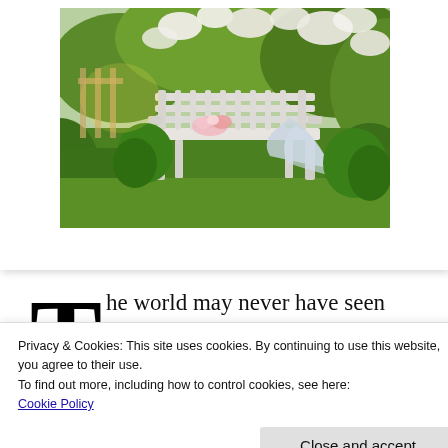[Figure (photo): A white garden bench in a lush green garden setting with white flowering plants and trees, with fabric draped over the bench and a floral decoration.]
The world may never have seen her original handwriting, if her skill was taken for
Privacy & Cookies: This site uses cookies. By continuing to use this website, you agree to their use.
To find out more, including how to control cookies, see here:
Cookie Policy
Close and accept
Webster 1828, and the Aristotelian